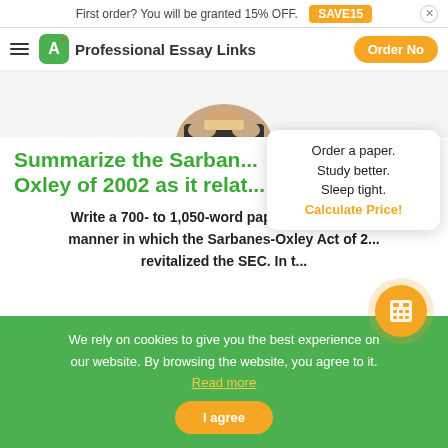First order? You will be granted 15% OFF. SAVE15
Professional Essay Links  Order Now
[Figure (photo): Partial image of a student or person at top of article, cropped]
Summarize the Sarban... Oxley of 2002 as it relat...
Write a 700- to 1,050-word paper analyzing the manner in which the Sarbanes-Oxley Act of 2... revitalized the SEC. In t...
Order a paper. Study better. Sleep tight. Calculate Price!
We rely on cookies to give you the best experience on our website. By browsing the website, you agree to it. Read more
I agree